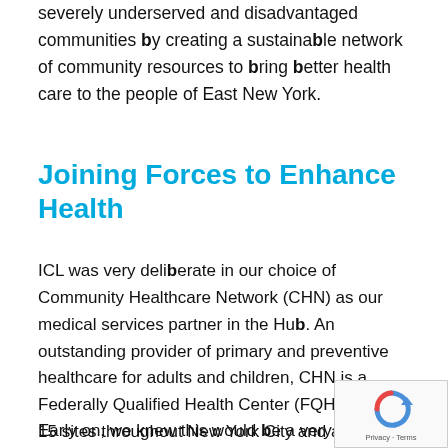severely underserved and disadvantaged communities by creating a sustainable network of community resources to bring better health care to the people of East New York.
Joining Forces to Enhance Health
ICL was very deliberate in our choice of Community Healthcare Network (CHN) as our medical services partner in the Hub. An outstanding provider of primary and preventive healthcare for adults and children, CHN is a Federally Qualified Health Center (FQHC) with 15 sites throughout New York City and a highly respected leader in comprehensive community medical care for underserved New York City residents.
Early on, we knew this would be a very successful